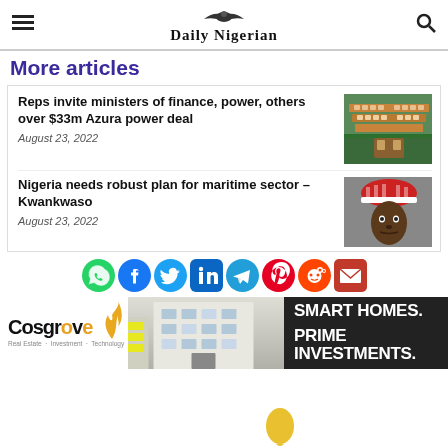Daily Nigerian
More articles
Reps invite ministers of finance, power, others over $33m Azura power deal
August 23, 2022
Nigeria needs robust plan for maritime sector – Kwankwaso
August 23, 2022
[Figure (infographic): Social media share icons: WhatsApp, Facebook, Twitter, LinkedIn, Telegram, Pinterest, Reddit, Email]
[Figure (infographic): Cosgrove Smart Homes advertisement banner with building photo and text: SMART HOMES. PRIME INVESTMENTS.]